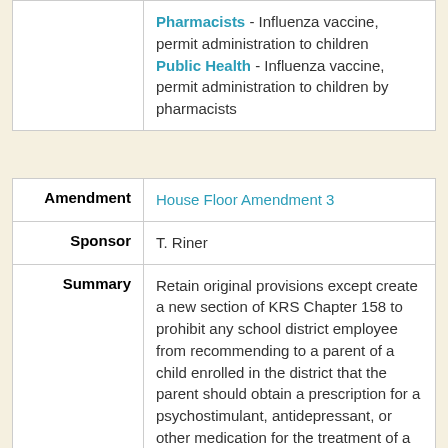|  | Pharmacists - Influenza vaccine, permit administration to children
Public Health - Influenza vaccine, permit administration to children by pharmacists |
| Amendment | House Floor Amendment 3 |
| Sponsor | T. Riner |
| Summary | Retain original provisions except create a new section of KRS Chapter 158 to prohibit any school district employee from recommending to a parent of a child enrolled in the district that the parent should obtain a prescription for a psychostimulant, antidepressant, or other medication for the treatment of a suspected attention deficit hyperactivity disorder. |